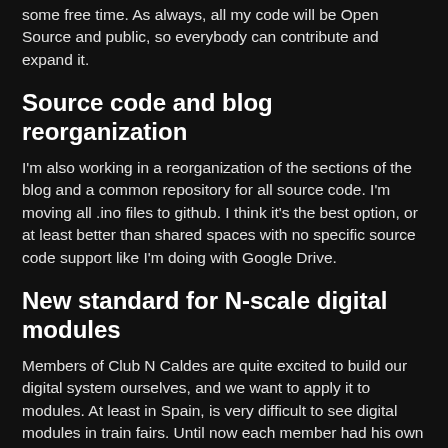some free time. As always, all my code will be Open Source and public, so everybody can contribute and expand it.
Source code and blog reorganization
I'm also working in a reorganization of the sections of the blog and a common repository for all source code. I'm moving all .ino files to github. I think it's the best option, or at least better than shared spaces with no specific source code support like I'm doing with Google Drive.
New standard for N-scale digital modules
Members of Club N Caldes are quite excited to build our digital system ourselves, and we want to apply it to modules. At least in Spain, is very difficult to see digital modules in train fairs. Until now each member had his own layout, and we were sharing our knowledge and helping ones to the others. As soon as we have all software and hardware ready...